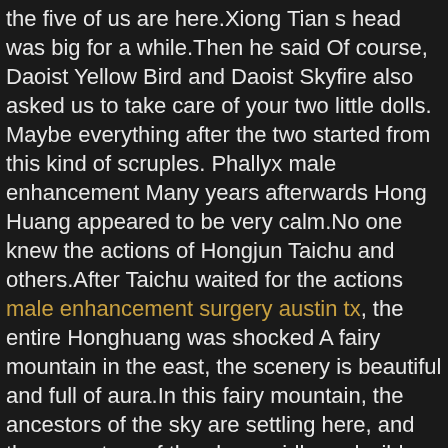the five of us are here.Xiong Tian s head was big for a while.Then he said Of course, Daoist Yellow Bird and Daoist Skyfire also asked us to take care of your two little dolls.
Maybe everything after the two started from this kind of scruples. Phallyx male enhancement Many years afterwards Hong Huang appeared to be very calm.No one knew the actions of Hongjun Taichu and others.After Taichu waited for the actions male enhancement surgery austin tx, the entire Honghuang was shocked A fairy mountain in the east, the scenery is beautiful and full of aura.In this fairy mountain, the ancestors of the sky are settling here, and the ancestors of the sky are idle and wild, and do not build power or participate in the struggle for hegemony.But recently he is in a bad mood, and his lair has been taken by others.Although Lao Lao is a fairy mountain, it is also his birthplace.Cang Qiong hated Shenni and the others very much.He was weak and unable to avenge him.His cultivation base was only strong in the middle of Luo Zhong.The spirit treasure in his hand is just